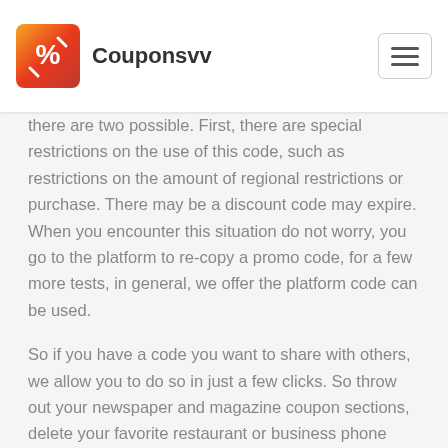Couponsvv
there are two possible. First, there are special restrictions on the use of this code, such as restrictions on the amount of regional restrictions or purchase. There may be a discount code may expire. When you encounter this situation do not worry, you go to the platform to re-copy a promo code, for a few more tests, in general, we offer the platform code can be used.
So if you have a code you want to share with others, we allow you to do so in just a few clicks. So throw out your newspaper and magazine coupon sections, delete your favorite restaurant or business phone numbers from your phone, and bookmark couponsvv.com today! Doing so will be the best decision you can make for your wallet, which will become fatter with all the cash you save using our site! Happy saving!
Example: Medox Coupon Codes
░░░░░░░░ K012░░HK$118.00